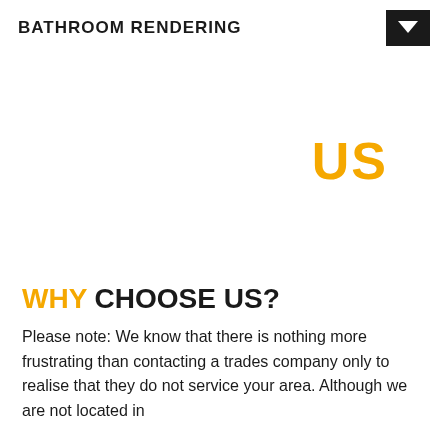BATHROOM RENDERING
US
WHY CHOOSE US?
Please note: We know that there is nothing more frustrating than contacting a trades company only to realise that they do not service your area. Although we are not located in